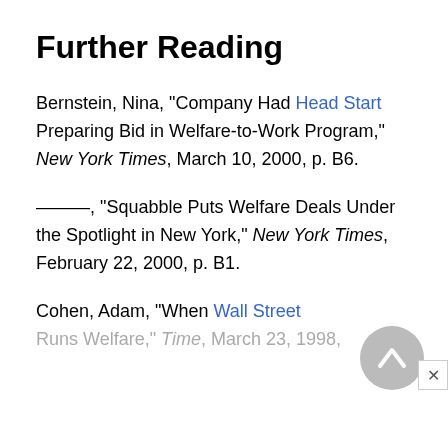Further Reading
Bernstein, Nina, “Company Had Head Start Preparing Bid in Welfare-to-Work Program,” New York Times, March 10, 2000, p. B6.
———, “Squabble Puts Welfare Deals Under the Spotlight in New York,” New York Times, February 22, 2000, p. B1.
Cohen, Adam, “When Wall Street Runs Welfare,” Time, March 23, 1998,